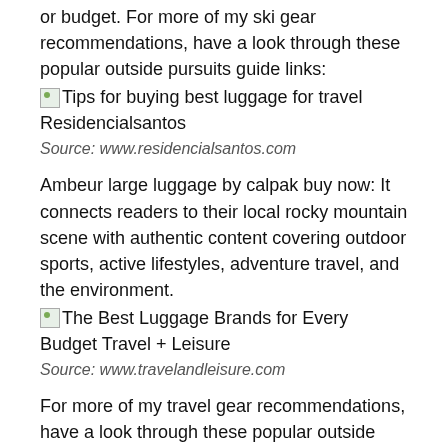or budget. For more of my ski gear recommendations, have a look through these popular outside pursuits guide links:
[Figure (photo): Broken image placeholder for 'Tips for buying best luggage for travel Residencialsantos']
Source: www.residencialsantos.com
Ambeur large luggage by calpak buy now: It connects readers to their local rocky mountain scene with authentic content covering outdoor sports, active lifestyles, adventure travel, and the environment.
[Figure (photo): Broken image placeholder for 'The Best Luggage Brands for Every Budget Travel + Leisure']
Source: www.travelandleisure.com
For more of my travel gear recommendations, have a look through these popular outside pursuits